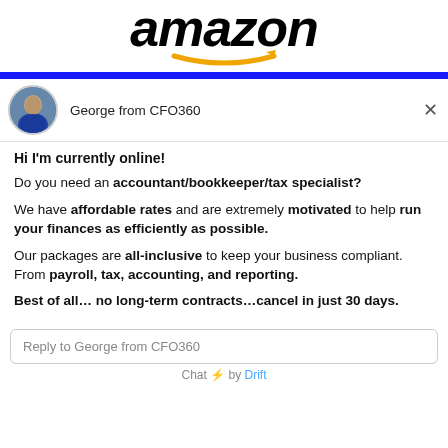[Figure (logo): Amazon logo with wordmark in bold italic and orange arrow smile beneath]
[Figure (photo): Circular avatar photo of George from CFO360]
George from CFO360
Hi I'm currently online!
Do you need an accountant/bookkeeper/tax specialist?
We have affordable rates and are extremely motivated to help run your finances as efficiently as possible.
Our packages are all-inclusive to keep your business compliant. From payroll, tax, accounting, and reporting.
Best of all… no long-term contracts…cancel in just 30 days.
Reply to George from CFO360
Chat ⚡ by Drift